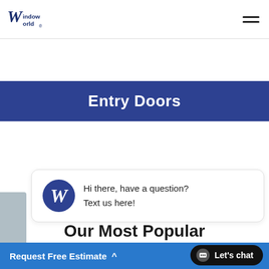Window World
Entry Doors
Hi there, have a question? Text us here!
Our Most Popular
Request Free Estimate ^  Let's chat